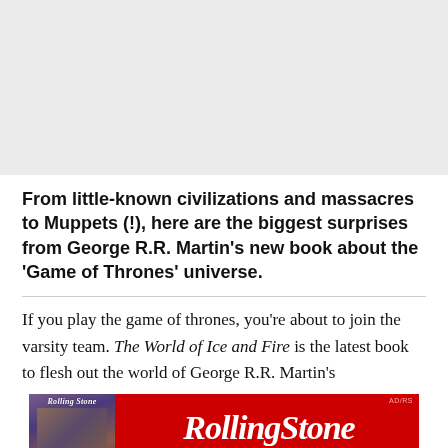[Figure (photo): Light gray placeholder image area at top of page]
From little-known civilizations and massacres to Muppets (!), here are the biggest surprises from George R.R. Martin's new book about the 'Game of Thrones' universe.
If you play the game of thrones, you're about to join the varsity team. The World of Ice and Fire is the latest book to flesh out the world of George R.R. Martin's
[Figure (illustration): Rolling Stone advertisement banner with red background, magazine cover on left, and Rolling Stone logo in white italic text]